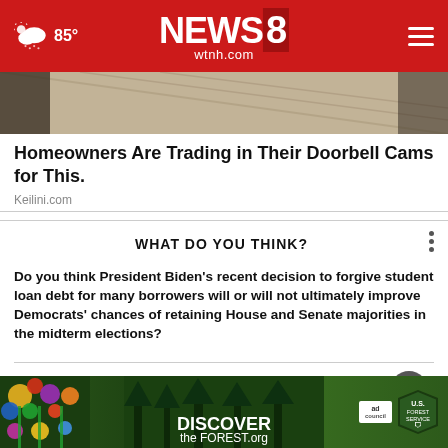NEWS8 wtnh.com | 85°
[Figure (photo): Close-up sepia/tan textured image, partially visible at top of page behind article listing]
Homeowners Are Trading in Their Doorbell Cams for This.
Keilini.com
WHAT DO YOU THINK?
Do you think President Biden's recent decision to forgive student loan debt for many borrowers will or will not ultimately improve Democrats' chances of retaining House and Senate majorities in the midterm elections?
Definitely will
Will
Definitely will not
[Figure (advertisement): DiscovertheForest.org ad banner with colorful flowers on left, forest background, Ad Council and US Forest Service logos on right]